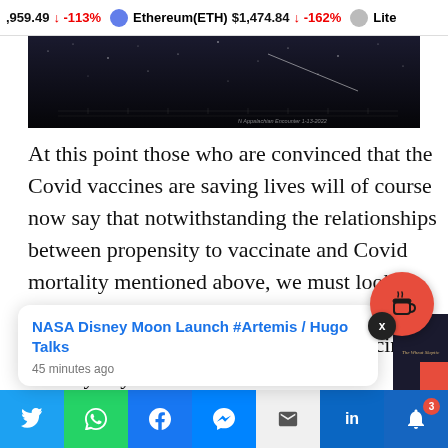959.49 ↓ -113%   Ethereum(ETH) $1,474.84 ↓ -162%   Lite
[Figure (photo): Dark astronomical image strip, likely a night sky or meteor observation image. Watermark reads 'N Appalachian Encounter 1-13-2022'.]
At this point those who are convinced that the Covid vaccines are saving lives will of course now say that notwithstanding the relationships between propensity to vaccinate and Covid mortality mentioned above, we must look at the death rates after vaccination, as these will surely show that the addition of the vaccines has anyway reduced deaths.
So let's do that, and look at both the pre and p... vaccination eras on one graph:
NASA Disney Moon Launch #Artemis / Hugo Talks
45 minutes ago
Share icons: Twitter, WhatsApp, Facebook, Messenger, Email, LinkedIn, Notification bell (3)